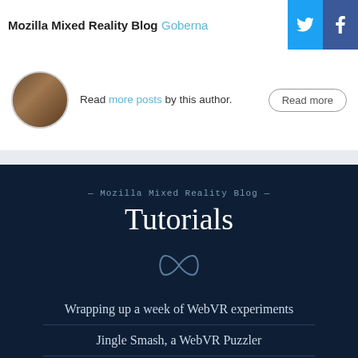Mozilla Mixed Reality Blog
Read more posts by this author.
— Mozilla Mixed Reality Blog —
Tutorials
Wrapping up a week of WebVR experiments
Jingle Smash, a WebVR Puzzler